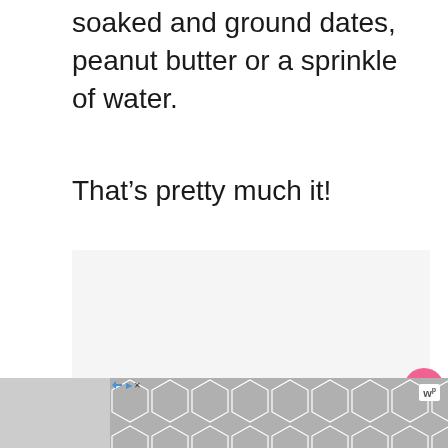soaked and ground dates, peanut butter or a sprinkle of water.
That’s pretty much it!
[Figure (other): Light gray advertisement placeholder box]
[Figure (other): Bottom advertisement banner strip with geometric hexagon pattern in gray, with ad label indicator and wordmark logo in bottom right]